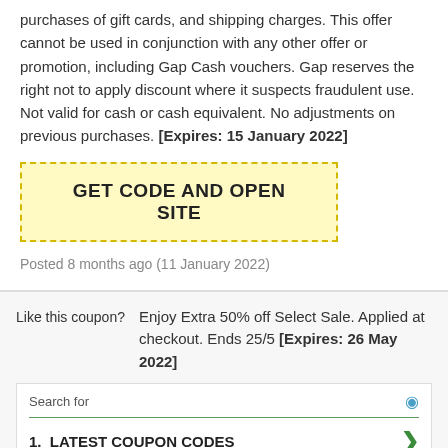purchases of gift cards, and shipping charges. This offer cannot be used in conjunction with any other offer or promotion, including Gap Cash vouchers. Gap reserves the right not to apply discount where it suspects fraudulent use. Not valid for cash or cash equivalent. No adjustments on previous purchases. [Expires: 15 January 2022]
GET CODE AND OPEN SITE
Posted 8 months ago (11 January 2022)
Like this coupon? Enjoy Extra 50% off Select Sale. Applied at checkout. Ends 25/5 [Expires: 26 May 2022]
Search for
1. LATEST COUPON CODES
2. FREE PROMO CODES